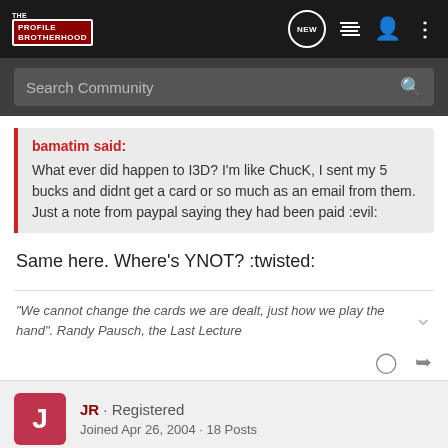The Profile Brotherhood
Search Community
bamatim said:
What ever did happen to I3D? I'm like ChucK, I sent my 5 bucks and didnt get a card or so much as an email from them. Just a note from paypal saying they had been paid :evil:
Same here. Where's YNOT? :twisted:
"We cannot change the cards we are dealt, just how we play the hand". Randy Pausch, the Last Lecture
JR · Registered
Joined Apr 26, 2004 · 18 Posts